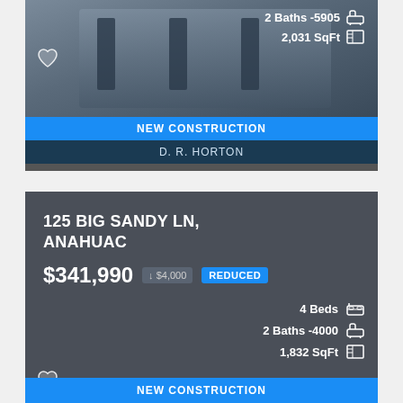[Figure (screenshot): Top portion of a real estate listing card showing a kitchen/bar area photo with bath and sqft info, NEW CONSTRUCTION and D. R. HORTON labels]
2 Baths -5905
2,031 SqFt
NEW CONSTRUCTION
D. R. HORTON
[Figure (screenshot): Bottom real estate listing card for 125 Big Sandy Ln, Anahuac showing price $341,990 reduced by $4,000, 4 Beds, 2 Baths -4000, 1,832 SqFt, NEW CONSTRUCTION badge]
125 BIG SANDY LN, ANAHUAC
$341,990
↓ $4,000
REDUCED
4 Beds
2 Baths -4000
1,832 SqFt
NEW CONSTRUCTION